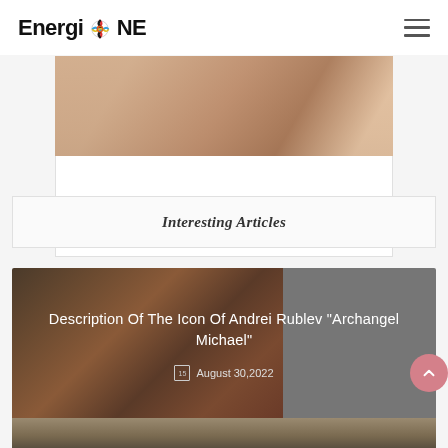EnergiONE
[Figure (photo): Partial view of a figure or painting, warm skin tones, cropped at top of page]
Interesting Articles
[Figure (photo): Article card with dark Byzantine icon painting background on the left and grey overlay on the right, showing title 'Description Of The Icon Of Andrei Rublev "Archangel Michael"' and date August 30, 2022]
Description Of The Icon Of Andrei Rublev "Archangel Michael"
August 30,2022
[Figure (photo): Bottom strip of another article image, partially visible]